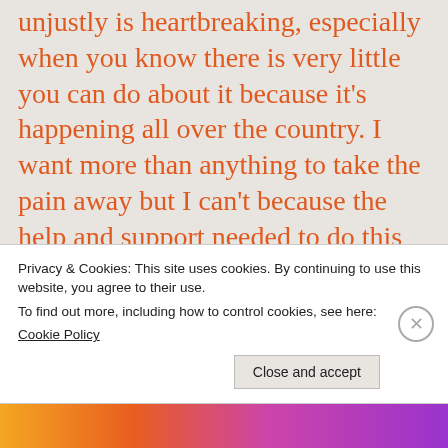unjustly is heartbreaking, especially when you know there is very little you can do about it because it's happening all over the country. I want more than anything to take the pain away but I can't because the help and support needed to do this just isn't there. And that's really hard for me because I have never wanted someone I love to go through what I have
Privacy & Cookies: This site uses cookies. By continuing to use this website, you agree to their use.
To find out more, including how to control cookies, see here:
Cookie Policy
Close and accept